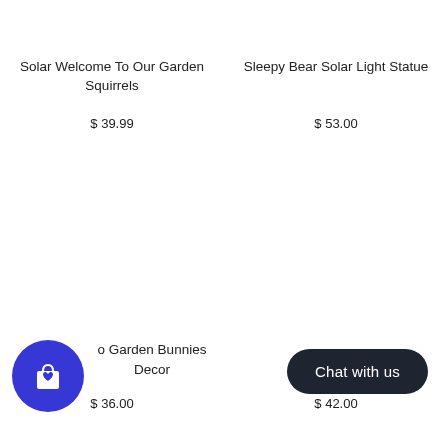Solar Welcome To Our Garden Squirrels
$ 39.99
Sleepy Bear Solar Light Statue
$ 53.00
[Figure (illustration): Shopping bag icon with heart inside a blue circle]
o Garden Bunnies Decor
$ 36.00
Playfu... nal
$ 42.00
Chat with us